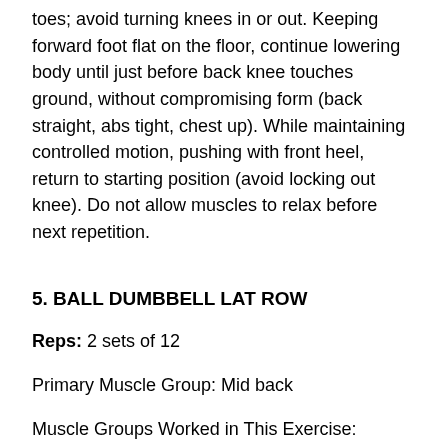toes; avoid turning knees in or out. Keeping forward foot flat on the floor, continue lowering body until just before back knee touches ground, without compromising form (back straight, abs tight, chest up). While maintaining controlled motion, pushing with front heel, return to starting position (avoid locking out knee). Do not allow muscles to relax before next repetition.
5. BALL DUMBBELL LAT ROW
Reps: 2 sets of 12
Primary Muscle Group: Mid back
Muscle Groups Worked in This Exercise: Deltoideus, Brachialis and Trapezius
Preparation: Begin in a standing position. Grasp the dumbbell with your right hand. Place your left palm on top